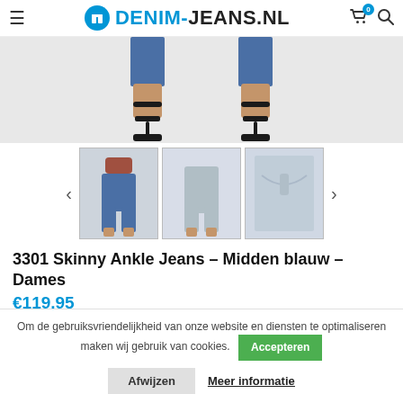DENIM-JEANS.NL
[Figure (photo): Close-up of woman's feet wearing blue jeans and black high-heel sandals on white background]
[Figure (photo): Three thumbnail images of jeans: front view woman in blue jeans with heels, back view of light jeans, close-up of back pocket of light jeans]
3301 Skinny Ankle Jeans – Midden blauw – Dames
€119,95
Om de gebruiksvriendelijkheid van onze website en diensten te optimaliseren maken wij gebruik van cookies.
Accepteren
Afwijzen
Meer informatie